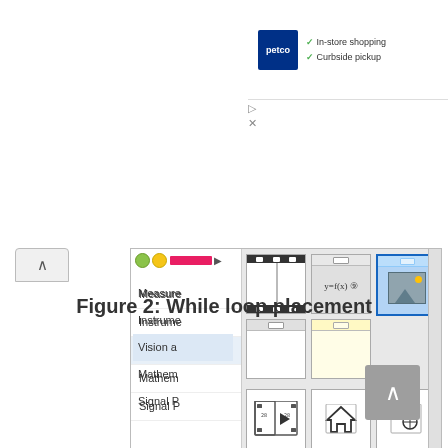[Figure (screenshot): Screenshot of LabVIEW or similar visual programming environment showing a function palette with icons for While loop, formula node, image preview, subVI connectors, and navigation functions. Menu items visible include Measure, Instrume, Vision a, Mathem, Signal P.]
Figure 2: While loop placement
[Figure (screenshot): Petco advertisement banner showing logo, In-store shopping and Curbside pickup checkmarks.]